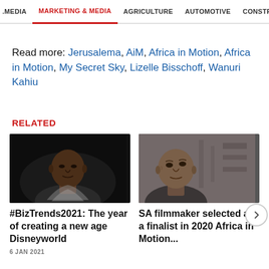. MEDIA   MARKETING & MEDIA   AGRICULTURE   AUTOMOTIVE   CONSTRU
Read more: Jerusalema, AiM, Africa in Motion, Africa in Motion, My Secret Sky, Lizelle Bisschoff, Wanuri Kahiu
RELATED
[Figure (photo): Portrait of a young African man in dark clothing against a black background]
[Figure (photo): Black and white / sepia toned portrait of an older African man looking upward, in a workshop or industrial setting]
#BizTrends2021: The year of creating a new age Disneyworld
SA filmmaker selected as a finalist in 2020 Africa in Motion...
6 JAN 2021